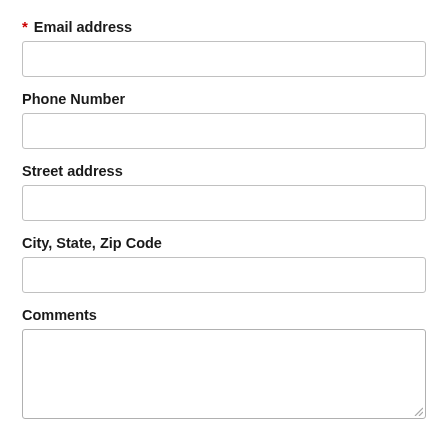* Email address
Phone Number
Street address
City, State, Zip Code
Comments